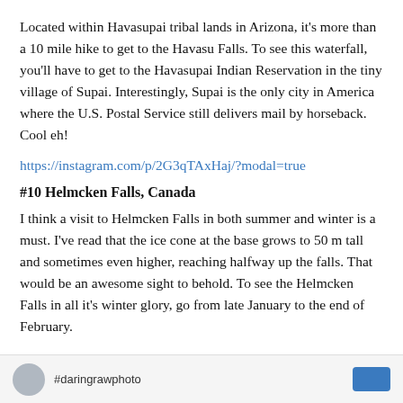Located within Havasupai tribal lands in Arizona, it's more than a 10 mile hike to get to the Havasu Falls. To see this waterfall, you'll have to get to the Havasupai Indian Reservation in the tiny village of Supai. Interestingly, Supai is the only city in America where the U.S. Postal Service still delivers mail by horseback. Cool eh!
https://instagram.com/p/2G3qTAxHaj/?modal=true
#10 Helmcken Falls, Canada
I think a visit to Helmcken Falls in both summer and winter is a must. I've read that the ice cone at the base grows to 50 m tall and sometimes even higher, reaching halfway up the falls. That would be an awesome sight to behold. To see the Helmcken Falls in all it's winter glory, go from late January to the end of February.
#daringrawphoto